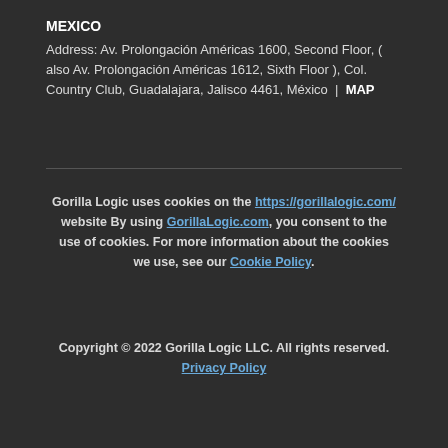MEXICO
Address: Av. Prolongación Américas 1600, Second Floor, ( also Av. Prolongación Américas 1612, Sixth Floor ), Col. Country Club, Guadalajara, Jalisco 4461, México | MAP
Gorilla Logic uses cookies on the https://gorillalogic.com/ website By using GorillaLogic.com, you consent to the use of cookies. For more information about the cookies we use, see our Cookie Policy.
Copyright © 2022 Gorilla Logic LLC. All rights reserved. Privacy Policy